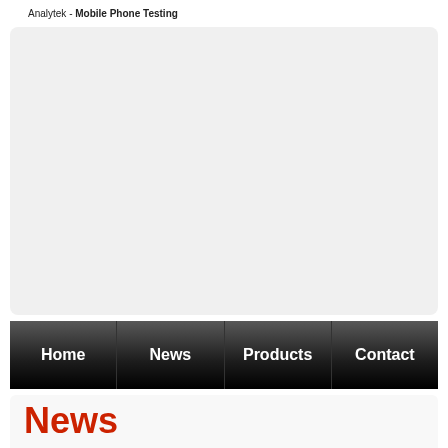Analytek - Mobile Phone Testing
[Figure (other): Large light grey banner/image area with rounded corners, content area placeholder]
[Figure (infographic): Navigation bar with four dark gradient buttons: Home, News, Products, Contact]
News